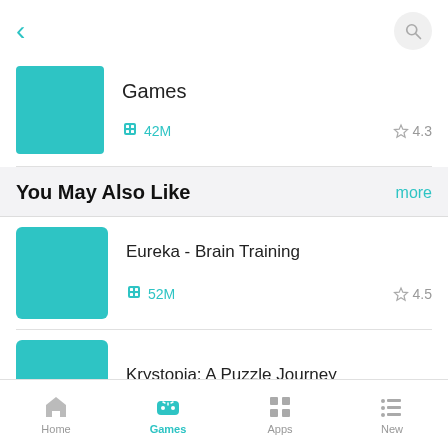[Figure (screenshot): Back arrow navigation button (teal/cyan color)]
[Figure (screenshot): Search icon button in light gray circle]
[Figure (screenshot): Teal square app icon placeholder for Games]
Games
42M
4.3
You May Also Like
more
[Figure (screenshot): Teal square app icon placeholder for Eureka - Brain Training]
Eureka - Brain Training
52M
4.5
[Figure (screenshot): Teal square app icon placeholder for Krystopia: A Puzzle Journey]
Krystopia: A Puzzle Journey
Home | Games | Apps | New